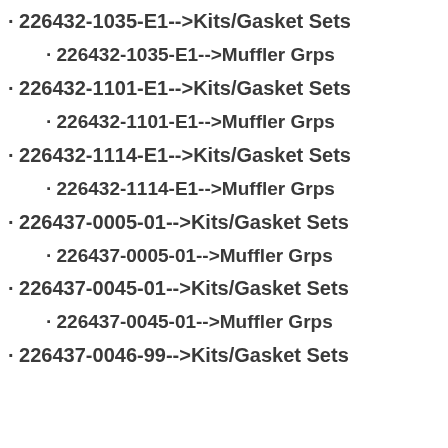226432-1035-E1-->Kits/Gasket Sets
226432-1035-E1-->Muffler Grps
226432-1101-E1-->Kits/Gasket Sets
226432-1101-E1-->Muffler Grps
226432-1114-E1-->Kits/Gasket Sets
226432-1114-E1-->Muffler Grps
226437-0005-01-->Kits/Gasket Sets
226437-0005-01-->Muffler Grps
226437-0045-01-->Kits/Gasket Sets
226437-0045-01-->Muffler Grps
226437-0046-99-->Kits/Gasket Sets